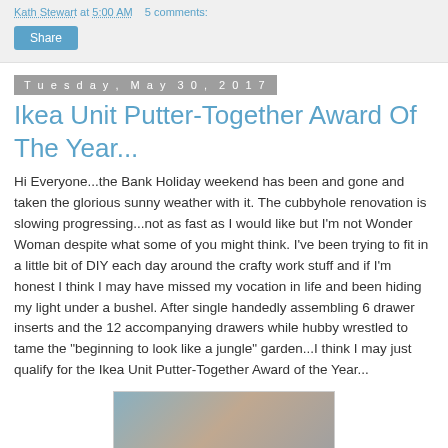Kath Stewart at 5:00 AM   5 comments:
Tuesday, May 30, 2017
Ikea Unit Putter-Together Award Of The Year...
Hi Everyone...the Bank Holiday weekend has been and gone and taken the glorious sunny weather with it. The cubbyhole renovation is slowing progressing...not as fast as I would like but I'm not Wonder Woman despite what some of you might think. I've been trying to fit in a little bit of DIY each day around the crafty work stuff and if I'm honest I think I may have missed my vocation in life and been hiding my light under a bushel. After single handedly assembling 6 drawer inserts and the 12 accompanying drawers while hubby wrestled to tame the "beginning to look like a jungle" garden...I think I may just qualify for the Ikea Unit Putter-Together Award of the Year...
[Figure (photo): Partial image of assembled Ikea drawer units or furniture]